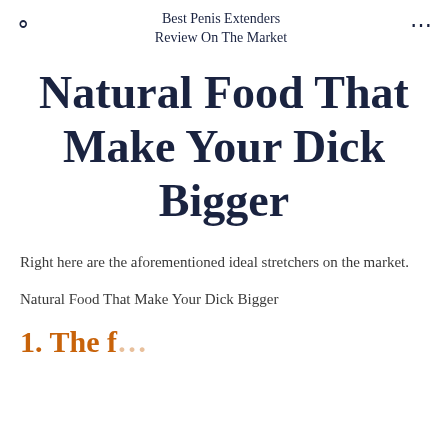Best Penis Extenders Review On The Market
Natural Food That Make Your Dick Bigger
Right here are the aforementioned ideal stretchers on the market.
Natural Food That Make Your Dick Bigger
1. The f...